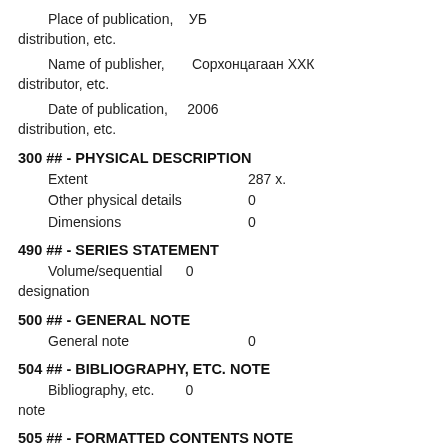Place of publication, distribution, etc.    УБ
Name of publisher, distributor, etc.    Сорхонцагаан ХХК
Date of publication, distribution, etc.    2006
300 ## - PHYSICAL DESCRIPTION
Extent    287 х.
Other physical details    0
Dimensions    0
490 ## - SERIES STATEMENT
Volume/sequential designation    0
500 ## - GENERAL NOTE
General note    0
504 ## - BIBLIOGRAPHY, ETC. NOTE
Bibliography, etc. note    0
505 ## - FORMATTED CONTENTS NOTE